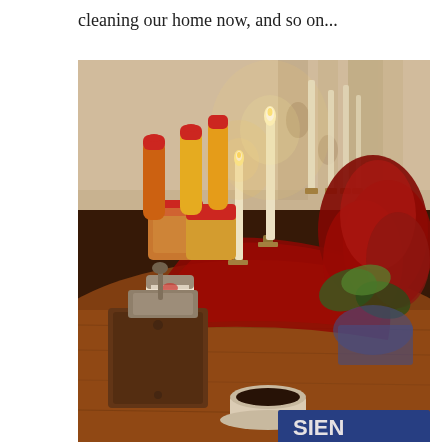cleaning our home now, and so on...
[Figure (photo): A warm candlelit scene on a wooden table featuring a manual coffee grinder, jars and squeeze bottles with red caps, two lit candles in brass holders, a red poinsettia plant, a white cup of dark coffee, and a partial view of what appears to be a book or magazine in the foreground. Curtains with a nature print are visible in the background.]